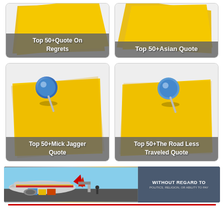[Figure (illustration): Card with yellow sticky note and text label 'Top 50+Quote On Regrets']
[Figure (illustration): Card with yellow sticky note and text label 'Top 50+Asian Quote']
[Figure (illustration): Card with blue pushpin and yellow sticky note, text label 'Top 50+Mick Jagger Quote']
[Figure (illustration): Card with blue pushpin and yellow sticky note, text label 'Top 50+The Road Less Traveled Quote']
[Figure (photo): Advertisement banner showing airplane cargo loading scene with text 'WITHOUT REGARD TO POLITICS, RELIGION, OR ABILITY TO PAY']